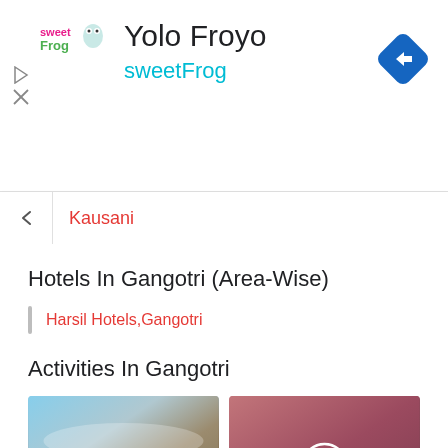[Figure (screenshot): sweetFrog advertisement banner with logo, 'Yolo Froyo' title, 'sweetFrog' subtitle in cyan, navigation arrow icon (blue diamond with right arrow), and play/close icons on the left]
Kausani
Hotels In Gangotri (Area-Wise)
Harsil Hotels,Gangotri
Activities In Gangotri
[Figure (photo): Two skydivers in red suits falling over a landscape with blue sky]
[Figure (photo): Group of children or people in a circle on a hillside with a white checkmark circle overlay, pinkish/magenta tint]